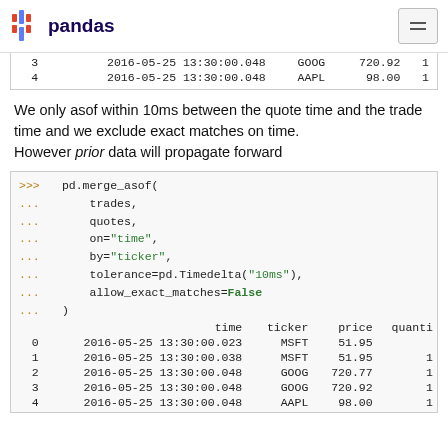pandas
| 3 | 2016-05-25 13:30:00.048 | GOOG | 720.92 | 1 |
| 4 | 2016-05-25 13:30:00.048 | AAPL | 98.00 | 1 |
We only asof within 10ms between the quote time and the trade time and we exclude exact matches on time. However prior data will propagate forward
>>> pd.merge_asof(
...     trades,
...     quotes,
...     on="time",
...     by="ticker",
...     tolerance=pd.Timedelta("10ms"),
...     allow_exact_matches=False
... )
|  | time | ticker | price | quanti |
| --- | --- | --- | --- | --- |
| 0 | 2016-05-25 13:30:00.023 | MSFT | 51.95 |  |
| 1 | 2016-05-25 13:30:00.038 | MSFT | 51.95 | 1 |
| 2 | 2016-05-25 13:30:00.048 | GOOG | 720.77 | 1 |
| 3 | 2016-05-25 13:30:00.048 | GOOG | 720.92 | 1 |
| 4 | 2016-05-25 13:30:00.048 | AAPL | 98.00 | 1 |